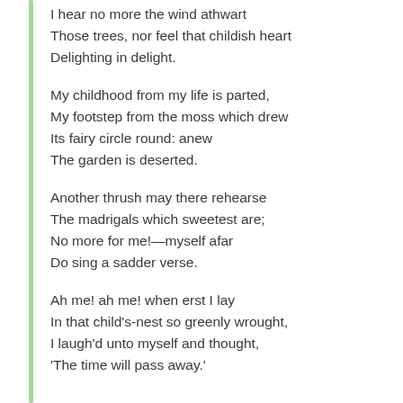I hear no more the wind athwart
Those trees, nor feel that childish heart
Delighting in delight.
My childhood from my life is parted,
My footstep from the moss which drew
Its fairy circle round: anew
The garden is deserted.
Another thrush may there rehearse
The madrigals which sweetest are;
No more for me!—myself afar
Do sing a sadder verse.
Ah me! ah me! when erst I lay
In that child's-nest so greenly wrought,
I laugh'd unto myself and thought,
'The time will pass away.'